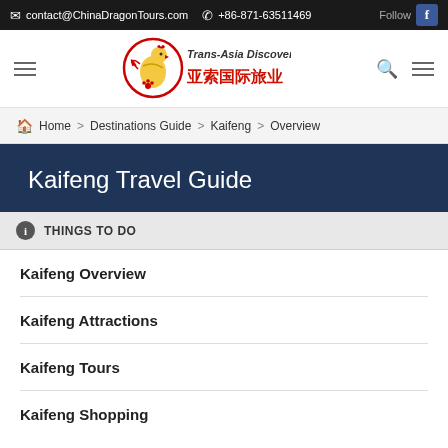contact@ChinaDragonTours.com  +86-871-63511469  Follow
[Figure (logo): Trans-Asia Discovery logo with rooster icon and Chinese text 亚索国际旅业]
Home > Destinations Guide > Kaifeng > Overview
Kaifeng Travel Guide
THINGS TO DO
Kaifeng Overview
Kaifeng Attractions
Kaifeng Tours
Kaifeng Shopping